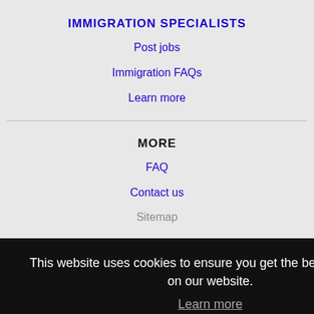IMMIGRATION SPECIALISTS
Post jobs
Immigration FAQs
Learn more
MORE
FAQ
Contact us
Sitemap
This website uses cookies to ensure you get the best experience on our website.
Learn more
Got it!
NEARBY CITIES
Broken Arrow, OK Jobs
Fayetteville, AR Jobs
Fort Smith, AR Jobs